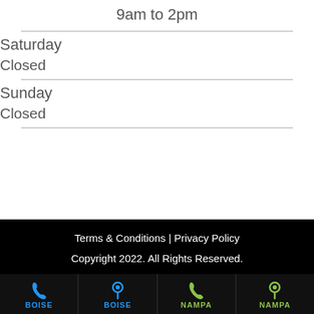9am to 2pm
Saturday
Closed
Sunday
Closed
Terms & Conditions | Privacy Policy
Copyright 2022. All Rights Reserved.
BOISE | BOISE | NAMPA | NAMPA